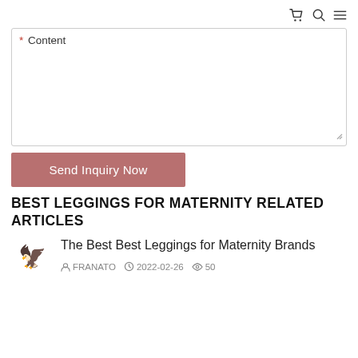cart icon, search icon, menu icon
* Content
Send Inquiry Now
BEST LEGGINGS FOR MATERNITY RELATED ARTICLES
The Best Best Leggings for Maternity Brands
FRANATO  2022-02-26  50